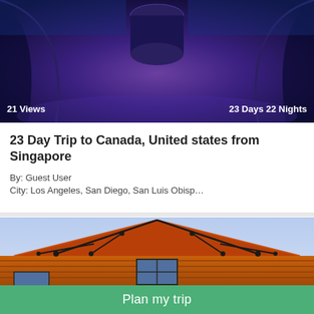[Figure (photo): Top photo showing interior of a dark blue/purple lit curved seating area or lounge]
21 Views
23 Days 22 Nights
23 Day Trip to Canada, United states from Singapore
By: Guest User
City: Los Angeles, San Diego, San Luis Obisp…
[Figure (photo): Bottom photo showing a log cabin or wooden building with a triangular roof against a blue sky]
Plan my trip